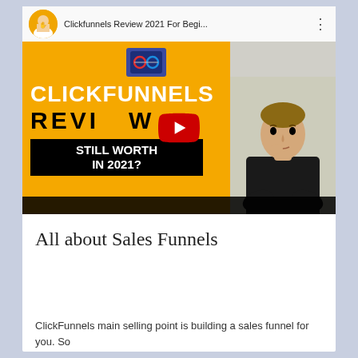[Figure (screenshot): YouTube video embed showing 'Clickfunnels Review 2021 For Begi...' with a thumbnail featuring orange background with 'CLICKFUNNELS REVIEW STILL WORTH IN 2021?' text and a man in a black sweater thinking pose. YouTube play button visible in center.]
All about Sales Funnels
ClickFunnels main selling point is building a sales funnel for you. So